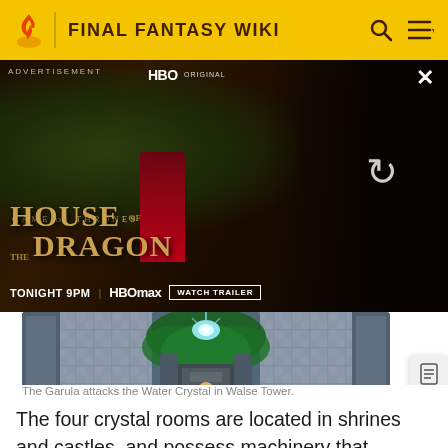FINAL FANTASY WIKI
[Figure (photo): HBO Original advertisement for House of the Dragon - Game of Thrones spinoff, showing 'TONIGHT 9PM | HBOmax | WATCH TRAILER']
[Figure (screenshot): Pixel art game screenshot showing the Garula attacking the Water Crystal in Walse Tower]
The Garula attacks the Water Crystal in Walse Tower.
The four crystal rooms are located in shrines and castles, and possess machinery that increase the Crystals' power, developed by Cid Previa, with exception of the Ronka